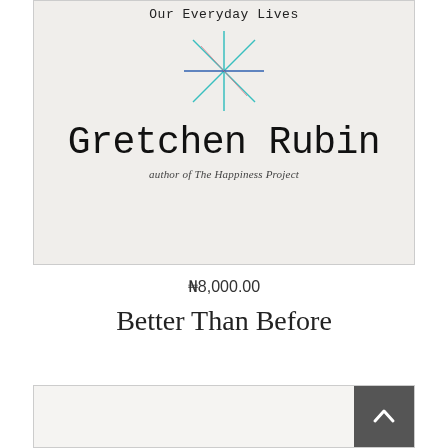[Figure (photo): Book cover of 'Better Than Before' by Gretchen Rubin. Cream/off-white background with a decorative snowflake/asterisk graphic in teal, blue, and red lines. Shows partial subtitle 'Our Everyday Lives', author name 'Gretchen Rubin', and tagline 'author of The Happiness Project'.]
₦8,000.00
Better Than Before
[Figure (photo): Bottom portion of a second book cover, partially visible, with cream/off-white background. A dark grey scroll-to-top button with an upward arrow chevron is visible in the bottom right corner.]